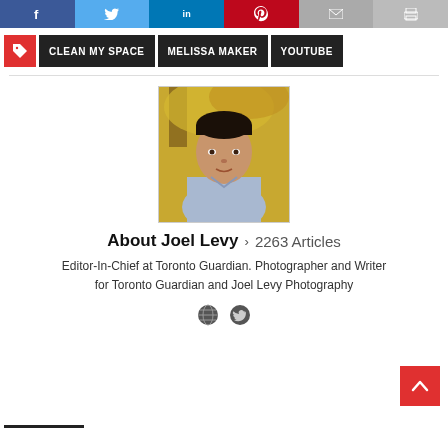[Figure (screenshot): Social share bar with Facebook, Twitter, LinkedIn, Pinterest, Email, Print buttons]
CLEAN MY SPACE  MELISSA MAKER  YOUTUBE
[Figure (photo): Headshot photo of Joel Levy, a young man in a blue shirt with autumn trees in background]
About Joel Levy  >  2263 Articles
Editor-In-Chief at Toronto Guardian. Photographer and Writer for Toronto Guardian and Joel Levy Photography
[Figure (illustration): Globe icon and Twitter bird icon for author social links]